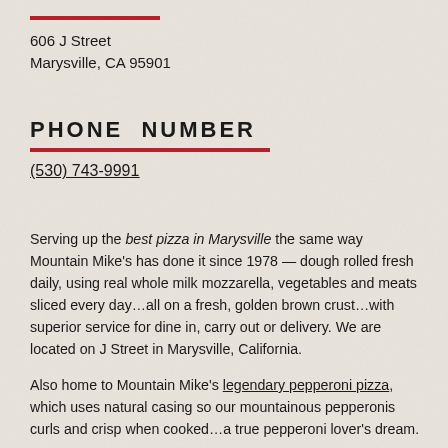606 J Street
Marysville, CA 95901
PHONE NUMBER
(530) 743-9991
Serving up the best pizza in Marysville the same way Mountain Mike's has done it since 1978 — dough rolled fresh daily, using real whole milk mozzarella, vegetables and meats sliced every day…all on a fresh, golden brown crust…with superior service for dine in, carry out or delivery. We are located on J Street in Marysville, California.
Also home to Mountain Mike's legendary pepperoni pizza, which uses natural casing so our mountainous pepperonis curls and crisp when cooked…a true pepperoni lover's dream.